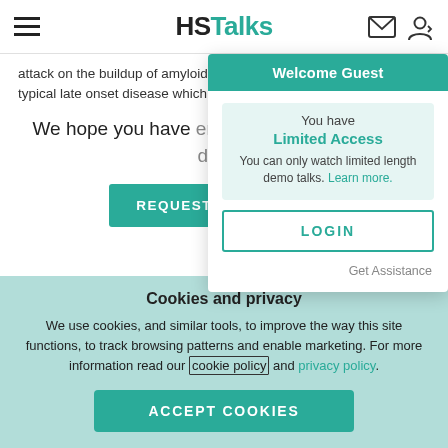HSTalks
attack on the buildup of amyloid is absolutely the way forward. In typical late onset disease which is of course a bit more difficult,
We hope you have enjoyed this limited-length demo.
REQUEST FREE TRIAL
Welcome Guest
You have
Limited Access
You can only watch limited length demo talks. Learn more.
LOGIN
Get Assistance
Cookies and privacy
We use cookies, and similar tools, to improve the way this site functions, to track browsing patterns and enable marketing. For more information read our cookie policy and privacy policy.
ACCEPT COOKIES